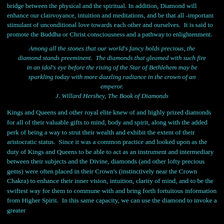bridge between the physical and the spiritual. In addition, Diamond will enhance our clairvoyance, intuition and meditations, and be that all -important stimulant of unconditional love towards each other and ourselves. It is said to promote the Buddha or Christ consciousness and a pathway to enlightenment.
Among all the stones that our world's fancy holds precious, the diamond stands preeminent. The diamonds that gleamed with such fire in an idol's eye before the rising of the Star of Bethlehem may be sparkling today with more dazzling radiance in the crown of an emperor.
J. Willard Hershey, The Book of Diamonds
Kings and Queens and other royal elite knew of and highly prized diamonds for all of their valuable gifts to mind, body and spirit, along with the added perk of being a way to strut their wealth and exhibit the extent of their aristocratic status. Since it was a common practice and looked upon as the duty of Kings and Queens to be able to act as an instrument and intermediary between their subjects and the Divine, diamonds (and other lofty precious gems) were often placed in their Crown's (instinctively near the Crown Chakra) to enhance their inner vision, intuition, clarity of mind, and to be the swiftest way for them to commune with and bring forth fortuitous information from Higher Spirit. In this same capacity, we can use the diamond to invoke a greater